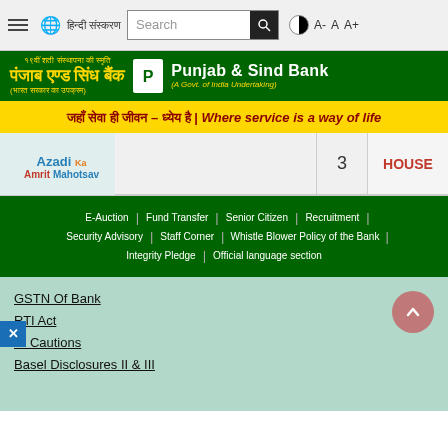Punjab & Sind Bank website header with navigation
[Figure (logo): Punjab & Sind Bank logo with Hindi and English text on green background]
जहाँ सेवा ही जीवन – ध्येय है | Where service is a way of life
|  |  | 3 | HOUSE |
| --- | --- | --- | --- |
|  |
E-Auction | Fund Transfer | Senior Citizen | Recruitment | Security Advisory | Staff Corner | Whistle Blower Policy of the Bank | Integrity Pledge | Official language section
GSTN Of Bank
RTI Act
BI Cautions
Basel Disclosures II & III